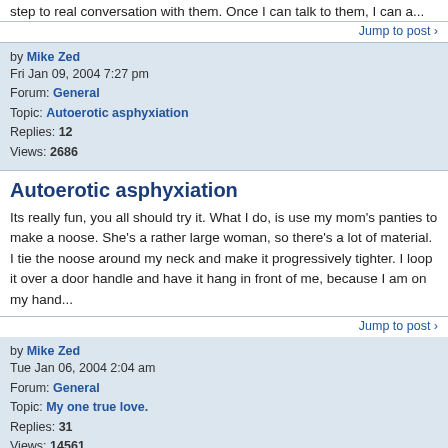step to real conversation with them. Once I can talk to them, I can a...
Jump to post ›
by Mike Zed
Fri Jan 09, 2004 7:27 pm
Forum: General
Topic: Autoerotic asphyxiation
Replies: 12
Views: 2686
Autoerotic asphyxiation
Its really fun, you all should try it. What I do, is use my mom's panties to make a noose. She's a rather large woman, so there's a lot of material. I tie the noose around my neck and make it progressively tighter. I loop it over a door handle and have it hang in front of me, because I am on my hand...
Jump to post ›
by Mike Zed
Tue Jan 06, 2004 2:04 am
Forum: General
Topic: My one true love.
Replies: 31
Views: 14561
If you are doing the one minute stuff I said before, then you are Axilla! Sorry, when I log into my MikeZed account, I get kinda stupid. This doesn't even make sense. I posted as MikeZed one minute AFTER I posted as MichaelZed. Also, I've heard from other people that Axilla is out of town